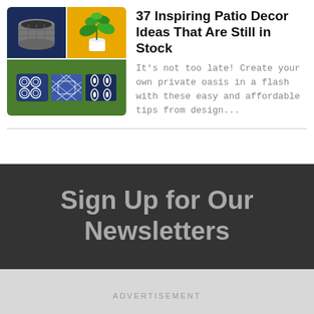[Figure (photo): Thumbnail image grid: top-left navy background with fire pit, top-right gold/yellow background with potted plant, bottom green background with three decorative blue pillows]
37 Inspiring Patio Decor Ideas That Are Still in Stock
It's not too late! Create your own private oasis in a flash with these easy and affordable tips from design...
Sign Up for Our Newsletters
ADVERTISEMENT